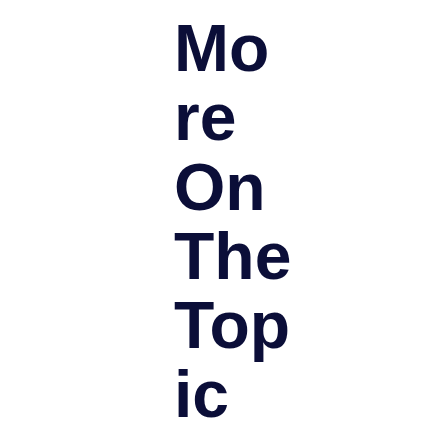More On The Topic
Baby equipment
The